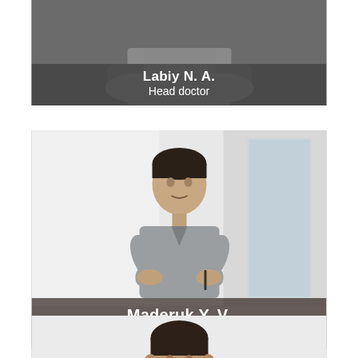[Figure (photo): Partial view of a person in medical attire with arms crossed, with a dark overlay banner showing name 'Labiy N. A.' and title 'Head doctor']
[Figure (photo): Male medical professional in gray scrubs standing with arms crossed in a bright corridor, with a dark brown overlay banner showing name 'Maderuk Y. V.' and title 'Dental mechanist']
[Figure (photo): Partial view of a male medical professional from the shoulders up in a bright clinical setting]